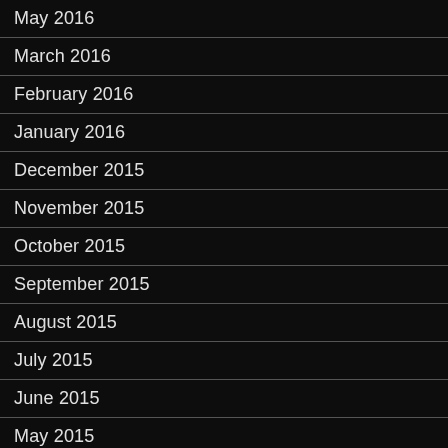May 2016
March 2016
February 2016
January 2016
December 2015
November 2015
October 2015
September 2015
August 2015
July 2015
June 2015
May 2015
April 2015